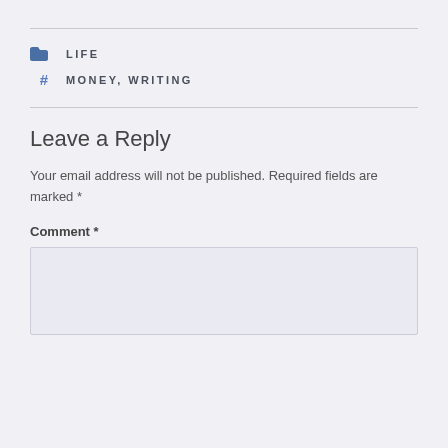LIFE
MONEY, WRITING
Leave a Reply
Your email address will not be published. Required fields are marked *
Comment *